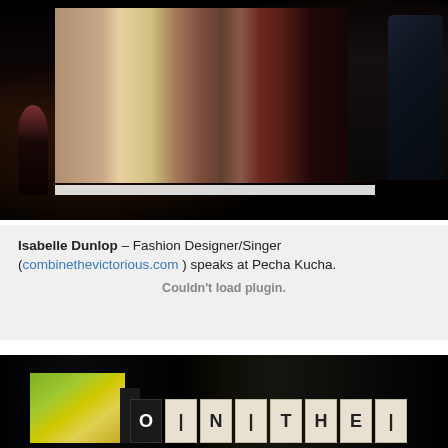[Figure (photo): A performer with a microphone stands on a dark stage in front of a large projection screen showing fashion models in colorful gowns. Models in formal/evening wear are visible on the right side of the stage.]
Isabelle Dunlop – Fashion Designer/Singer (combinethevictorious.com) speaks at Pecha Kucha. Couldn't load plugin.
[Figure (photo): Dark event photo with illuminated letter tiles spelling 'ON THE' visible against a black background, with a colorful image panel on the left side.]